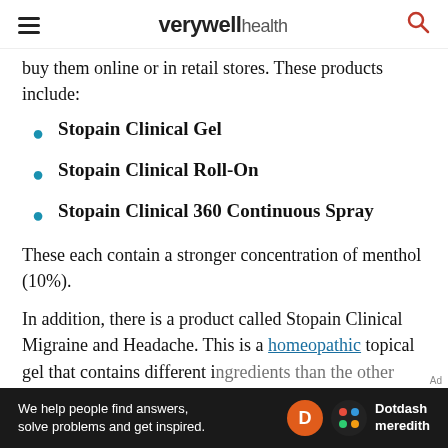verywell health
buy them online or in retail stores. These products include:
Stopain Clinical Gel
Stopain Clinical Roll-On
Stopain Clinical 360 Continuous Spray
These each contain a stronger concentration of menthol (10%).
In addition, there is a product called Stopain Clinical Migraine and Headache. This is a homeopathic topical gel that contains different ingredients than the other Stopain products, including
[Figure (other): Dotdash Meredith advertisement banner: 'We help people find answers, solve problems and get inspired.']